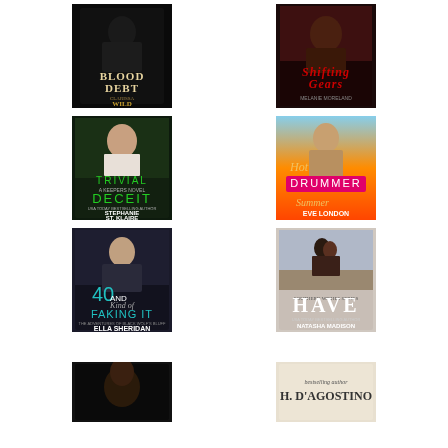[Figure (illustration): Book cover: Blood Debt by Clarissa Wild — dark cover with figure, white and gold text]
[Figure (illustration): Book cover: Shifting Gears by Melanie Moreland — red and dark cover with motorcycle theme]
[Figure (illustration): Book cover: Trivial Deceit (A Keepers Novel) by Stephanie St. Klaire — man in white shirt, green jungle background]
[Figure (illustration): Book cover: Hot Drummer Summer by Eve London — shirtless man at sunset, pink/magenta text]
[Figure (illustration): Book cover: 40 and Kind of Faking It by Ella Sheridan — suited man, teal and white text]
[Figure (illustration): Book cover: Have by Natasha Madison — couple embracing outdoors, white serif text]
[Figure (illustration): Book cover: partial view — dark cover with man's face]
[Figure (illustration): Book cover: by H. D'Agostino — light beige cover with script text]